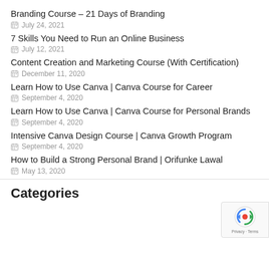Branding Course – 21 Days of Branding
July 24, 2021
7 Skills You Need to Run an Online Business
July 12, 2021
Content Creation and Marketing Course (With Certification)
December 11, 2020
Learn How to Use Canva | Canva Course for Career
September 4, 2020
Learn How to Use Canva | Canva Course for Personal Brands
September 4, 2020
Intensive Canva Design Course | Canva Growth Program
September 4, 2020
How to Build a Strong Personal Brand | Orifunke Lawal
May 13, 2020
Categories